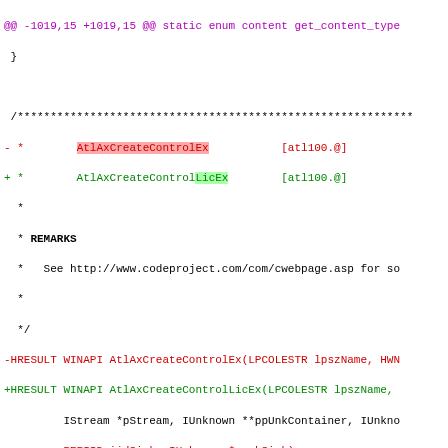@@ -1019,15 +1019,15 @@ static enum content get_content_type
}
/**************************************************************
- *        AtlAxCreateControlEx           [atl100.@]
+ *        AtlAxCreateControlLicEx        [atl100.@]
*
* REMARKS
*   See http://www.codeproject.com/com/cwebpage.asp for so
*
*/
-HRESULT WINAPI AtlAxCreateControlEx(LPCOLESTR lpszName, HWN
+HRESULT WINAPI AtlAxCreateControlLicEx(LPCOLESTR lpszName,
IStream *pStream, IUnknown **ppUnkContainer, IUnkno
-        REFIID iidSink, IUnknown *punkSink)
+        REFIID iidSink, IUnknown *punkSink, BSTR lic)
{
CLSID controlId;
HRESULT hRes;
@@ -1037,8 +1037,11 @@ HRESULT WINAPI AtlAxCreateControlEx(L
IUnknown *pContainer = NULL;
enum content content;
-        TRACE("%s %p %p %p %p %p %p)\n", debugstr_w(lpszName),
-             ppUnkContainer, ppUnkControl, iidSink, punkSink
+        TRACE("%s %p %p %p %p %p %p %s)\n", debugstr_w(lpszNam
+             ppUnkContainer, ppUnkControl, iidSink, punkSink
+
+    if (lic)
+        FIXME("semi stub\n");
if (ppUnkContainer) *ppUnkContainer = NULL;